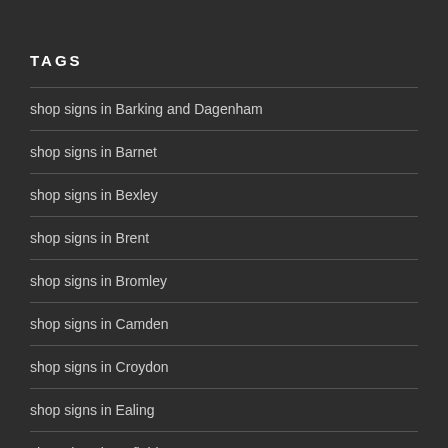TAGS
shop signs in Barking and Dagenham
shop signs in Barnet
shop signs in Bexley
shop signs in Brent
shop signs in Bromley
shop signs in Camden
shop signs in Croydon
shop signs in Ealing
shop signs in Enfield